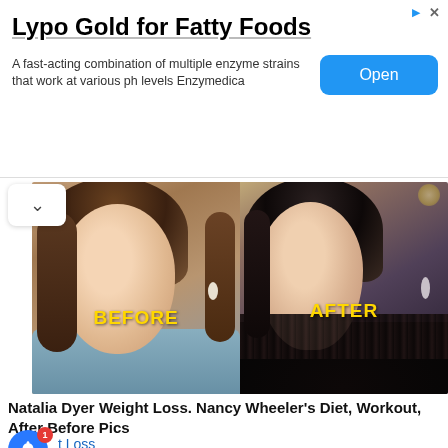[Figure (infographic): Advertisement banner for Lypo Gold for Fatty Foods with Open button]
Lypo Gold for Fatty Foods
A fast-acting combination of multiple enzyme strains that work at various ph levels Enzymedica
[Figure (photo): Before and after comparison photos of Natalia Dyer showing weight loss transformation. Left panel labeled BEFORE shows woman in grey sweater with brown hair. Right panel labeled AFTER shows same woman in black feathered outfit with dark hair.]
Natalia Dyer Weight Loss. Nancy Wheeler's Diet, Workout, After Before Pics
t Loss